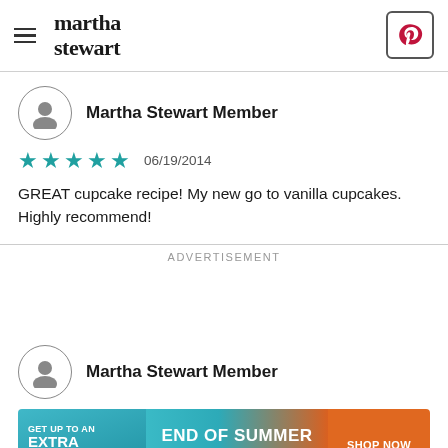martha stewart
Martha Stewart Member
★★★★★ 06/19/2014
GREAT cupcake recipe! My new go to vanilla cupcakes. Highly recommend!
ADVERTISEMENT
Martha Stewart Member
[Figure (infographic): End of Summer Sale-A-Thon advertisement banner with teal/orange gradient, text: GET UP TO AN EXTRA 50% OFF, END OF SUMMER SALE-A-THON, SHOP NOW button]